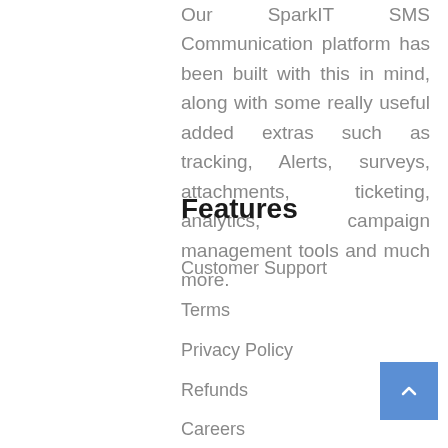Our SparkIT SMS Communication platform has been built with this in mind, along with some really useful added extras such as tracking, Alerts, surveys, attachments, ticketing, analytics, campaign management tools and much more.
Features
Customer Support
Terms
Privacy Policy
Refunds
Careers
Contact